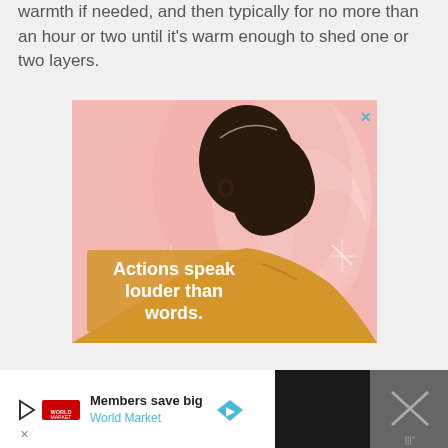warmth if needed, and then typically for no more than an hour or two until it's warm enough to shed one or two layers.
[Figure (illustration): Illustrated advertisement showing a person in a yellow turtleneck sweater viewed from behind/side profile, with pink swirling background. Text overlay reads 'Actions speak louder than words.' with a close (X) button in the top right corner.]
[Figure (infographic): Bottom advertisement bar with dark background on sides. White center section shows a play button icon, a red brand logo, text 'Members save big' in bold and 'World Market' in blue, and a blue diamond-shaped navigation arrow icon. Right side shows an X close button on dark background with a muted/speaker icon.]